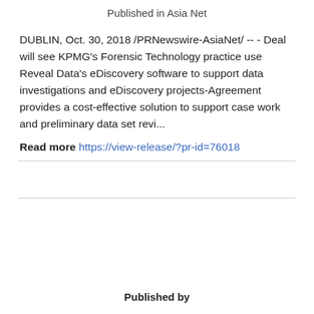Published in Asia Net
DUBLIN, Oct. 30, 2018 /PRNewswire-AsiaNet/ -- - Deal will see KPMG's Forensic Technology practice use Reveal Data's eDiscovery software to support data investigations and eDiscovery projects-Agreement provides a cost-effective solution to support case work and preliminary data set revi...
Read more https://view-release/?pr-id=76018
Published by